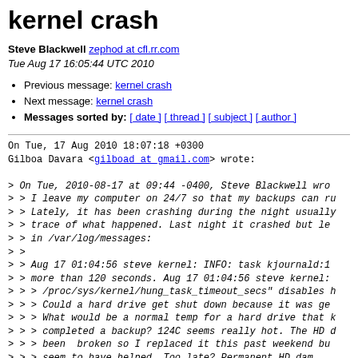kernel crash
Steve Blackwell zephod at cfl.rr.com
Tue Aug 17 16:05:44 UTC 2010
Previous message: kernel crash
Next message: kernel crash
Messages sorted by: [ date ] [ thread ] [ subject ] [ author ]
On Tue, 17 Aug 2010 18:07:18 +0300
Gilboa Davara <gilboad at gmail.com> wrote:

> On Tue, 2010-08-17 at 09:44 -0400, Steve Blackwell wro
> > I leave my computer on 24/7 so that my backups can r
> > Lately, it has been crashing during the night usually
> > trace of what happened. Last night it crashed but le
> > in /var/log/messages:
> >
> > Aug 17 01:04:56 steve kernel: INFO: task kjournald:1
> > more than 120 seconds. Aug 17 01:04:56 steve kernel:
> > > /proc/sys/kernel/hung_task_timeout_secs" disables h
> > > Could a hard drive get shut down because it was ge
> > > What would be a normal temp for a hard drive that 
> > > completed a backup? 124C seems really hot. The HD
> > > been  broken so I replaced it this past weekend bu
> > > seem to have helped. Too late? Permanent HD dam